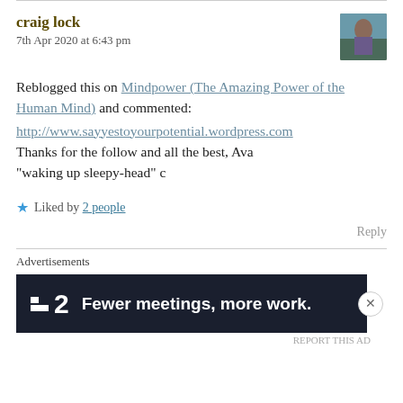craig lock
7th Apr 2020 at 6:43 pm
Reblogged this on Mindpower (The Amazing Power of the Human Mind) and commented:
http://www.sayyestoyourpotential.wordpress.com
Thanks for the follow and all the best, Ava
"waking up sleepy-head" c
Liked by 2 people
Reply
Advertisements
[Figure (screenshot): Advertisement banner: dark background with logo '2' and text 'Fewer meetings, more work.']